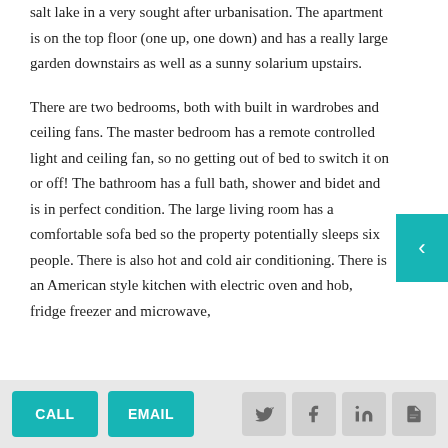salt lake in a very sought after urbanisation. The apartment is on the top floor (one up, one down) and has a really large garden downstairs as well as a sunny solarium upstairs.
There are two bedrooms, both with built in wardrobes and ceiling fans. The master bedroom has a remote controlled light and ceiling fan, so no getting out of bed to switch it on or off! The bathroom has a full bath, shower and bidet and is in perfect condition. The large living room has a comfortable sofa bed so the property potentially sleeps six people. There is also hot and cold air conditioning. There is an American style kitchen with electric oven and hob, fridge freezer and microwave,